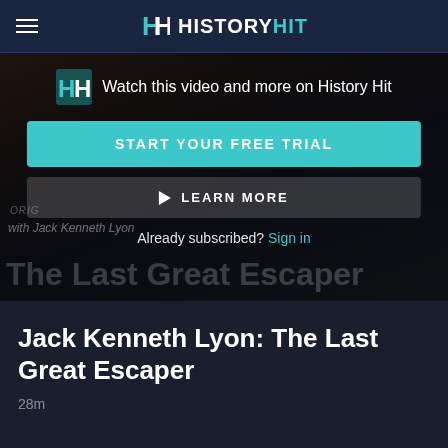HISTORY HIT
[Figure (screenshot): Video thumbnail/overlay for History Hit streaming page showing 'The Last Great Escaper' with Jack Kenneth Lyon, with subscription call-to-action overlay]
Watch this video and more on History Hit
START YOUR FREE TRIAL
LEARN MORE
Already subscribed? Sign in
Jack Kenneth Lyon: The Last Great Escaper
28m